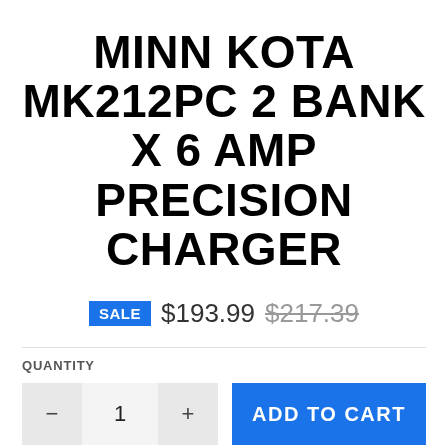MINN KOTA MK212PC 2 BANK X 6 AMP PRECISION CHARGER
SALE $193.99 $217.39
QUANTITY
− 1 + ADD TO CART
Precision On-Board Charger
Longer run times. Shorter charge times. That's the precision difference that makes these the best chargers